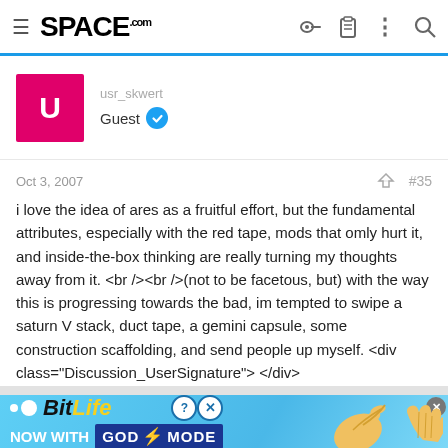SPACE.com
usr_skwert
Guest
Oct 3, 2007  #35
i love the idea of ares as a fruitful effort, but the fundamental attributes, especially with the red tape, mods that omly hurt it, and inside-the-box thinking are really turning my thoughts away from it. <br /><br />(not to be facetous, but) with the way this is progressing towards the bad, im tempted to swipe a saturn V stack, duct tape, a gemini capsule, some construction scaffolding, and send people up myself. <div class="Discussion_UserSignature"> </div>
[Figure (screenshot): BitLife advertisement banner: cyan/blue background with BitLife logo (yellow 'Life' text), 'NOW WITH GOD MODE' text with lightning bolt, pointing hand graphic, and help/close buttons]